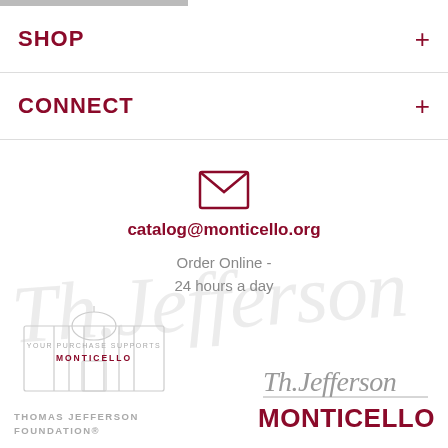SHOP +
CONNECT +
[Figure (illustration): Envelope/email icon in dark red/maroon color]
catalog@monticello.org
Order Online - 24 hours a day
[Figure (illustration): Monticello building silhouette watermark badge with text: YOUR PURCHASE SUPPORTS MONTICELLO]
THOMAS JEFFERSON FOUNDATION®
[Figure (logo): Thomas Jefferson Monticello logo with cursive signature and bold MONTICELLO text in dark red]